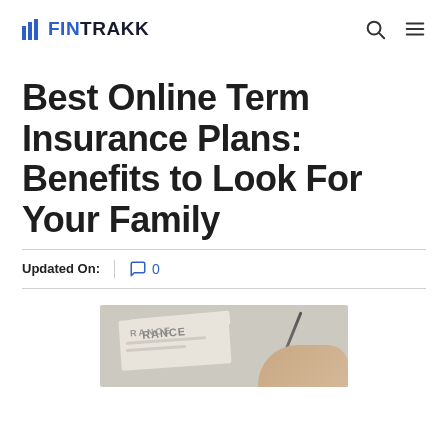FINTRAKK
Best Online Term Insurance Plans: Benefits to Look For Your Family
Updated On:  0
[Figure (photo): A hand holding a pen signing an insurance document, with the word RANCE visible on the paper.]